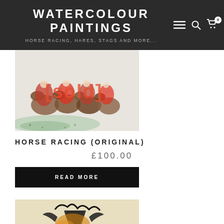WATERCOLOUR PAINTINGS — HORSE RACING, HARES, STAGS AND MORE...
[Figure (photo): Watercolour painting of horse racing jockeys in red, sold overlay stamp]
HORSE RACING (ORIGINAL)
£100.00
READ MORE
[Figure (photo): Watercolour painting of birds (hares/stags) in black and orange, sold overlay stamp]